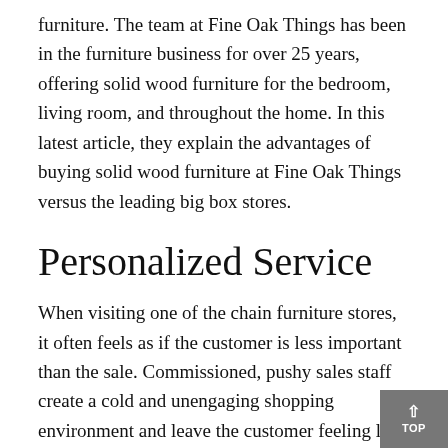furniture. The team at Fine Oak Things has been in the furniture business for over 25 years, offering solid wood furniture for the bedroom, living room, and throughout the home. In this latest article, they explain the advantages of buying solid wood furniture at Fine Oak Things versus the leading big box stores.
Personalized Service
When visiting one of the chain furniture stores, it often feels as if the customer is less important than the sale. Commissioned, pushy sales staff create a cold and unengaging shopping environment and leave the customer feeling like a number. Fine Oak Things operates differently.